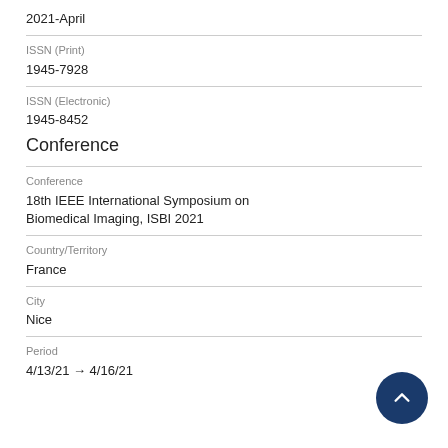2021-April
ISSN (Print)
1945-7928
ISSN (Electronic)
1945-8452
Conference
Conference
18th IEEE International Symposium on Biomedical Imaging, ISBI 2021
Country/Territory
France
City
Nice
Period
4/13/21 → 4/16/21